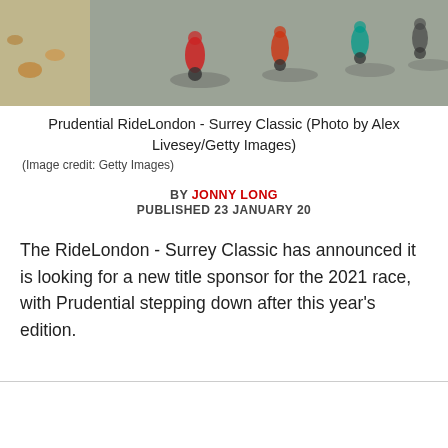[Figure (photo): Aerial/overhead view of cyclists racing in the Prudential RideLondon - Surrey Classic, bikes and shadows visible on road surface]
Prudential RideLondon - Surrey Classic (Photo by Alex Livesey/Getty Images)
(Image credit: Getty Images)
BY JONNY LONG
PUBLISHED 23 JANUARY 20
The RideLondon - Surrey Classic has announced it is looking for a new title sponsor for the 2021 race, with Prudential stepping down after this year's edition.